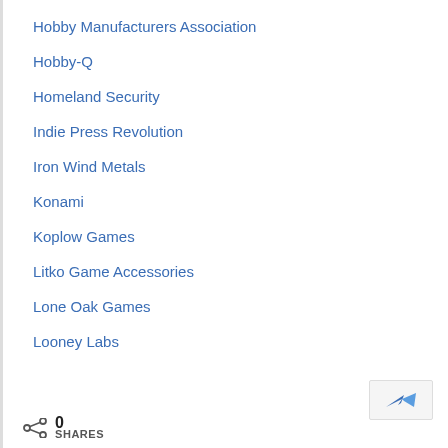Hobby Manufacturers Association
Hobby-Q
Homeland Security
Indie Press Revolution
Iron Wind Metals
Konami
Koplow Games
Litko Game Accessories
Lone Oak Games
Looney Labs
0 SHARES